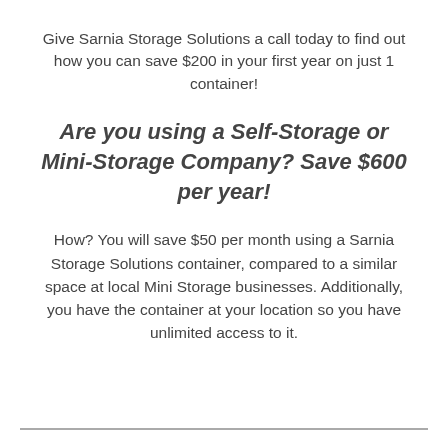Give Sarnia Storage Solutions a call today to find out how you can save $200 in your first year on just 1 container!
Are you using a Self-Storage or Mini-Storage Company? Save $600 per year!
How? You will save $50 per month using a Sarnia Storage Solutions container, compared to a similar space at local Mini Storage businesses. Additionally, you have the container at your location so you have unlimited access to it.